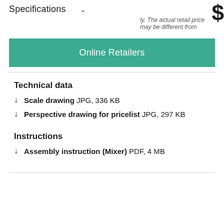Specifications
ly. The actual retail price may be different from
Online Retailers
Technical data
↓  Scale drawing JPG, 336 KB
↓  Perspective drawing for pricelist JPG, 297 KB
Instructions
↓  Assembly instruction (Mixer)  PDF, 4 MB